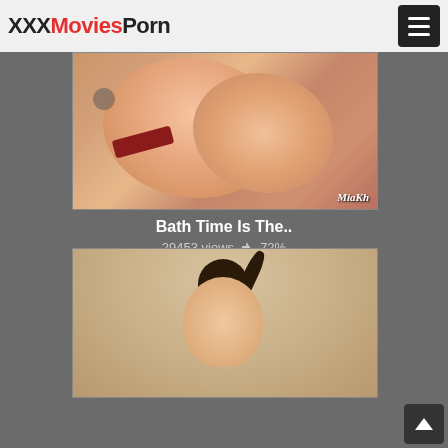XXXMoviesPorn
[Figure (screenshot): Video thumbnail showing close-up adult content with watermark text 'MiaKh' in lower right corner]
Bath Time Is The..
29453 views 👍 72%
[Figure (screenshot): Video thumbnail showing a woman with dark hair in a ponytail lying on a marble floor, wearing a white top, with eyes closed]